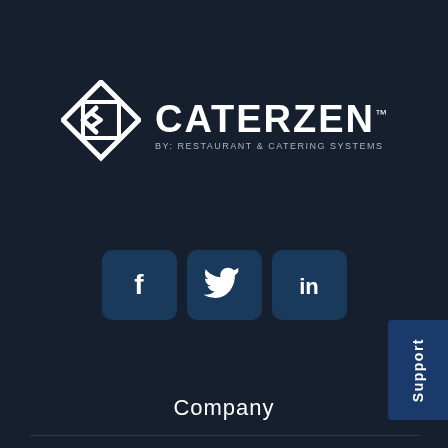[Figure (logo): CaterZen logo with diamond-shaped icon and text 'CaterZen By: Restaurant & Catering Systems' with TM mark]
[Figure (infographic): Three social media icons: Facebook (f), Twitter (bird), LinkedIn (in) — dark blue rounded square buttons]
Company
About
Blog
Privacy
Support